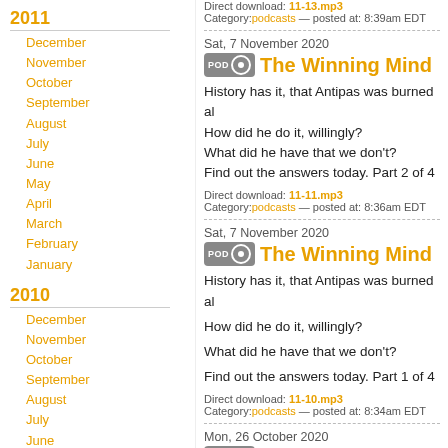2011
December
November
October
September
August
July
June
May
April
March
February
January
2010
December
November
October
September
August
July
June
May
April
[Figure (logo): Libsyn podcast logo illustration showing a cartoon character at a turntable/DJ setup]
Direct download: 11-13.mp3
Category:podcasts — posted at: 8:39am EDT
Sat, 7 November 2020
The Winning Mind
History has it, that Antipas was burned al
How did he do it, willingly?
What did he have that we don't?
Find out the answers today. Part 2 of 4
Direct download: 11-11.mp3
Category:podcasts — posted at: 8:36am EDT
Sat, 7 November 2020
The Winning Mind
History has it, that Antipas was burned al
How did he do it, willingly?
What did he have that we don't?
Find out the answers today. Part 1 of 4
Direct download: 11-10.mp3
Category:podcasts — posted at: 8:34am EDT
Mon, 26 October 2020
The LAST Gentile
Preached at ICC on Oct. 25th, 2020.